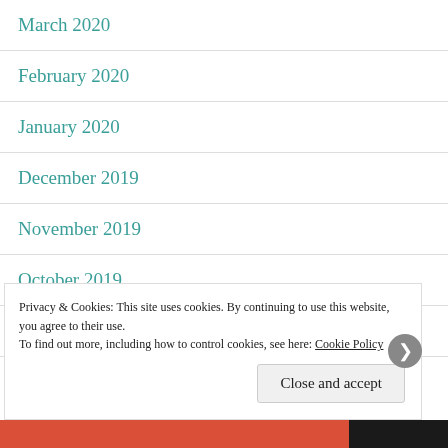March 2020
February 2020
January 2020
December 2019
November 2019
October 2019
September 2019
August 2019
Privacy & Cookies: This site uses cookies. By continuing to use this website, you agree to their use. To find out more, including how to control cookies, see here: Cookie Policy
Close and accept